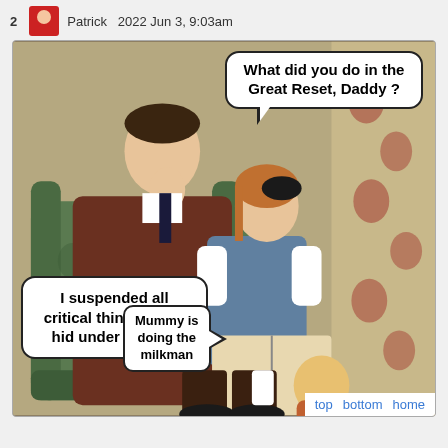2   Patrick   2022 Jun 3, 9:03am
[Figure (illustration): A retro-style illustration meme showing a father sitting in a green armchair with his finger to his lips, a girl with a book on his lap asking 'What did you do in the Great Reset, Daddy?' in a speech bubble, and a small boy at his feet. Speech bubbles contain: 'What did you do in the Great Reset, Daddy ?', 'I suspended all critical thinking and hid under the bed', 'Mummy is doing the milkman']
top   bottom   home